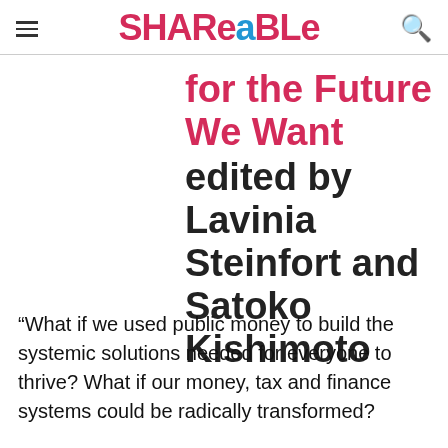SHAReABLe
for the Future We Want edited by Lavinia Steinfort and Satoko Kishimoto
“What if we used public money to build the systemic solutions needed for everyone to thrive? What if our money, tax and finance systems could be radically transformed?